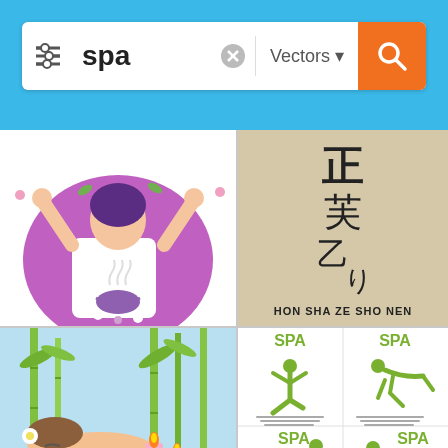[Figure (screenshot): Mobile app screenshot showing a search interface with 'spa' query and vector image results grid]
spa
Vectors
[Figure (illustration): Vector illustration of woman in spa robe with flowers and steam bowl]
[Figure (illustration): Reiki symbol with text HON SHA ZE SHO NEN on beige background]
HON SHA ZE SHO NEN
[Figure (illustration): Woman lying on massage table with bamboo, candles, stones and flowers]
[Figure (illustration): Set of four spa logos with green yoga/massage figures and SPA text]